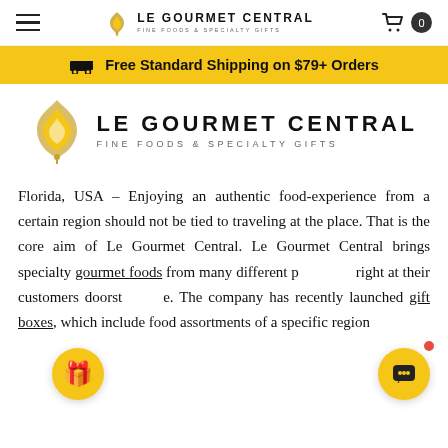LE GOURMET CENTRAL FINE FOODS & SPECIALTY GIFTS
Free Standard Shipping on $79+ Orders
[Figure (logo): Le Gourmet Central logo with golden wheat/leaf icon, text LE GOURMET CENTRAL FINE FOODS & SPECIALTY GIFTS]
Florida, USA – Enjoying an authentic food-experience from a certain region should not be tied to traveling at the place. That is the core aim of Le Gourmet Central. Le Gourmet Central brings specialty gourmet foods from many different places right at their customers doorstep. The company has recently launched gift boxes, which include food assortments of a specific region